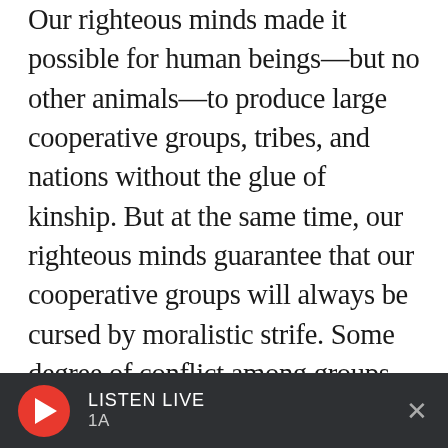Our righteous minds made it possible for human beings—but no other animals—to produce large cooperative groups, tribes, and nations without the glue of kinship. But at the same time, our righteous minds guarantee that our cooperative groups will always be cursed by moralistic strife. Some degree of conflict among groups may even be necessary for the health and development of any society. When I was a teenager I wished for world peace, but now I yearn for a world in which competing ideologies are kept in balance, systems of accountability keep us all from getting away with too much, and fewer people believe that righteous ends justify violent means. Not a
LISTEN LIVE 1A